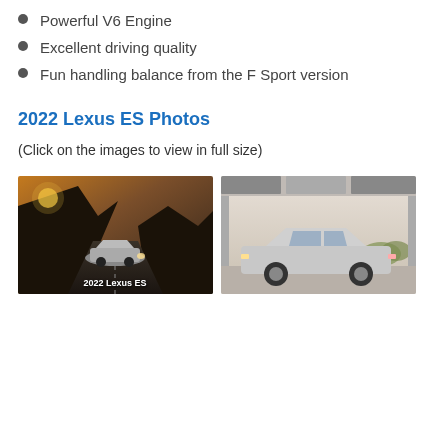Powerful V6 Engine
Excellent driving quality
Fun handling balance from the F Sport version
2022 Lexus ES Photos
(Click on the images to view in full size)
[Figure (photo): 2022 Lexus ES silver sedan driving on a dark mountain road at sunset with dramatic cloudy sky, captioned '2022 Lexus ES']
[Figure (photo): 2022 Lexus ES silver sedan parked in profile view under a modern canopy structure with desert vegetation in background]